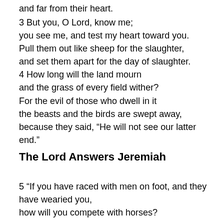and far from their heart.
3 But you, O Lord, know me; you see me, and test my heart toward you. Pull them out like sheep for the slaughter, and set them apart for the day of slaughter. 4 How long will the land mourn and the grass of every field wither? For the evil of those who dwell in it the beasts and the birds are swept away, because they said, “He will not see our latter end.”
The Lord Answers Jeremiah
5 “If you have raced with men on foot, and they have wearied you, how will you compete with horses?